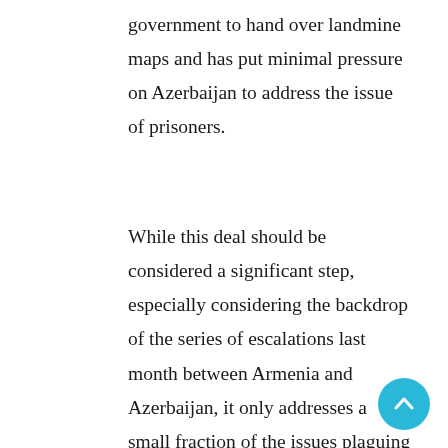government to hand over landmine maps and has put minimal pressure on Azerbaijan to address the issue of prisoners.
While this deal should be considered a significant step, especially considering the backdrop of the series of escalations last month between Armenia and Azerbaijan, it only addresses a small fraction of the issues plaguing the domestic political arena of each country. In Azerbaijan, one of the hinderances to reconstruction and development of the territories reclaimed during the 2020 war has been the extensive mining operations of Armenian forces. According to Idris Ismayilov,